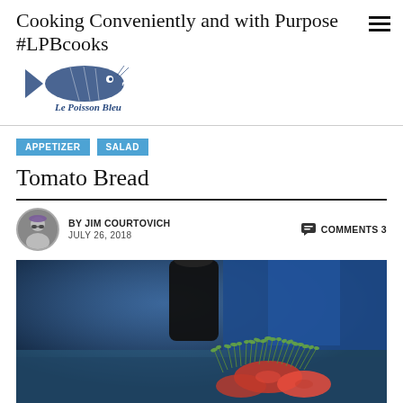Cooking Conveniently and with Purpose #LPBcooks
[Figure (logo): Le Poisson Bleu fish logo with text 'Le Poisson Bleu']
APPETIZER   SALAD
Tomato Bread
BY JIM COURTOVICH   JULY 26, 2018   COMMENTS 3
[Figure (photo): Close-up photo of tomato bread with microgreens and tomato slices, dark blue background]